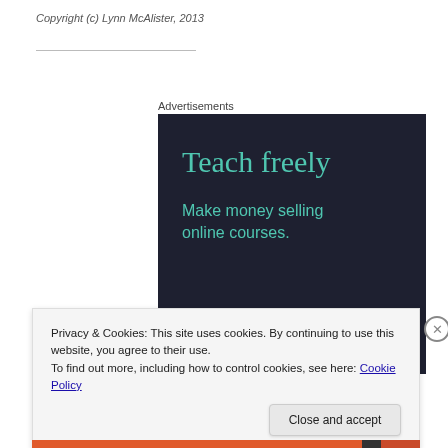Copyright (c) Lynn McAlister, 2013
Advertisements
[Figure (illustration): Dark navy blue advertisement box with teal text reading 'Teach freely' (large serif) and 'Make money selling online courses.' (smaller sans-serif)]
Privacy & Cookies: This site uses cookies. By continuing to use this website, you agree to their use.
To find out more, including how to control cookies, see here: Cookie Policy
Close and accept